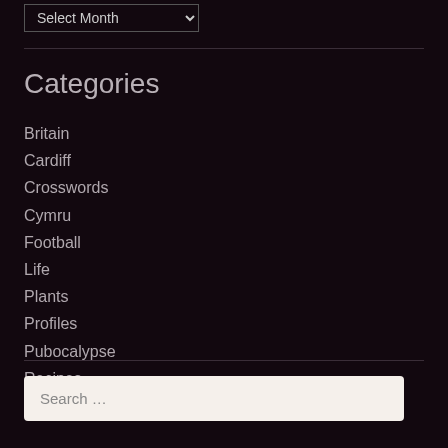[Figure (other): Dropdown select input with 'Select Month' text and a dropdown arrow icon]
Categories
Britain
Cardiff
Crosswords
Cymru
Football
Life
Plants
Profiles
Pubocalypse
Recipes
Writing
[Figure (other): Search input box with placeholder text 'Search ...']